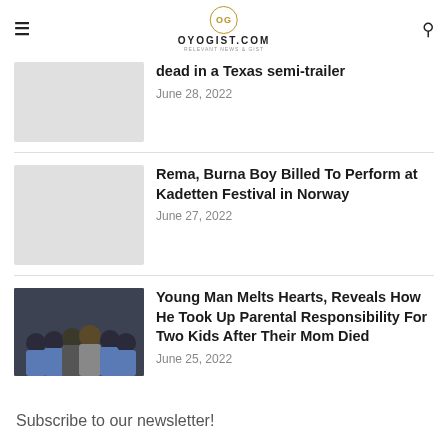OYOGIST.COM
dead in a Texas semi-trailer
June 28, 2022
Rema, Burna Boy Billed To Perform at Kadetten Festival in Norway
June 27, 2022
[Figure (photo): Group of young men with an older man in a suit]
Young Man Melts Hearts, Reveals How He Took Up Parental Responsibility For Two Kids After Their Mom Died
June 25, 2022
Subscribe to our newsletter!